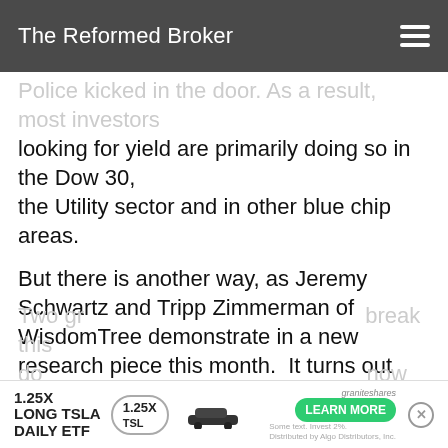The Reformed Broker
Police kicked in the door. As a result, most investors looking for yield are primarily doing so in the Dow 30, the Utility sector and in other blue chip areas.
But there is another way, as Jeremy Schwartz and Tripp Zimmerman of WisdomTree demonstrate in a new research piece this month.  It turns out that in both 12-months trailing dividend yield and in five-year historic returns, a small- or mid-cap dividend-focused strategy has noticeably outperformed a simple large cap value or traditional “dinosaur dividend fund” weighted by market cap size.
Two gr… break this do… now
[Figure (other): Advertisement banner: 1.25X Long TSLA Daily ETF by GraniteShares with Tesla car image and Learn More button]